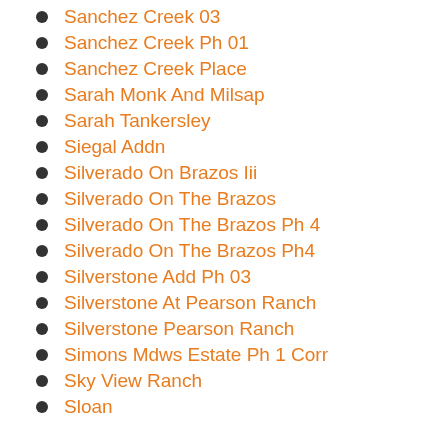Sanchez Creek 03
Sanchez Creek Ph 01
Sanchez Creek Place
Sarah Monk And Milsap
Sarah Tankersley
Siegal Addn
Silverado On Brazos Iii
Silverado On The Brazos
Silverado On The Brazos Ph 4
Silverado On The Brazos Ph4
Silverstone Add Ph 03
Silverstone At Pearson Ranch
Silverstone Pearson Ranch
Simons Mdws Estate Ph 1 Corr
Sky View Ranch
Sloan